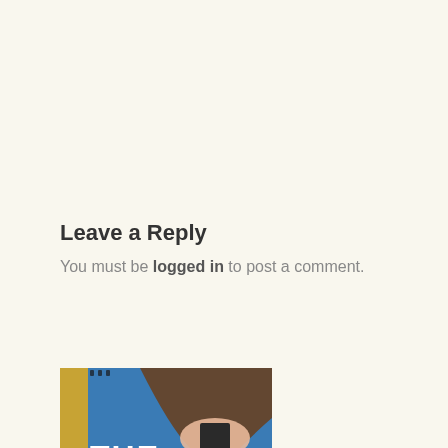Leave a Reply
You must be logged in to post a comment.
[Figure (photo): Book cover of 'The Fabric of Civilization: How Textiles Made the World' showing decorative blue textile pattern with a hand holding a book, bold white title text overlay]